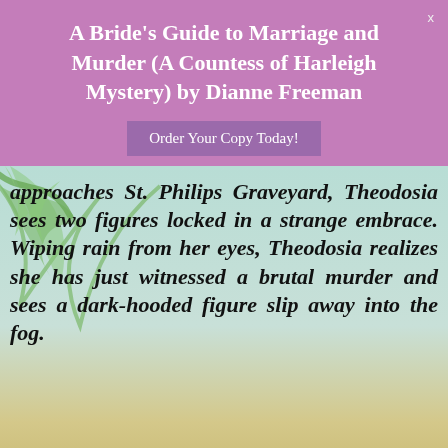A Bride's Guide to Marriage and Murder (A Countess of Harleigh Mystery) by Dianne Freeman
Order Your Copy Today!
approaches St. Philips Graveyard, Theodosia sees two figures locked in a strange embrace. Wiping rain from her eyes, Theodosia realizes she has just witnessed a brutal murder and sees a dark-hooded figure slip away into the fog.
Privacy & Cookies: This site uses cookies. By continuing to use this website, you agree to their use.
To find out more, including how to control cookies, see here: Cookie Policy
Close and accept
Even though this appears to be the work of a